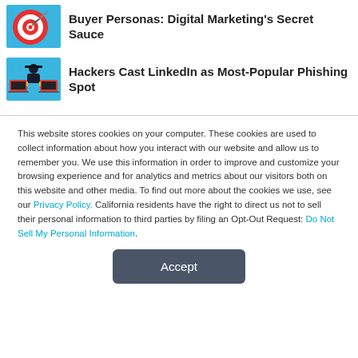[Figure (illustration): Colorful target/bullseye with arrow illustration for digital marketing article]
Buyer Personas: Digital Marketing's Secret Sauce
[Figure (illustration): Illustration of hacker figure with laptops for phishing article]
Hackers Cast LinkedIn as Most-Popular Phishing Spot
This website stores cookies on your computer. These cookies are used to collect information about how you interact with our website and allow us to remember you. We use this information in order to improve and customize your browsing experience and for analytics and metrics about our visitors both on this website and other media. To find out more about the cookies we use, see our Privacy Policy. California residents have the right to direct us not to sell their personal information to third parties by filing an Opt-Out Request: Do Not Sell My Personal Info.
Accept